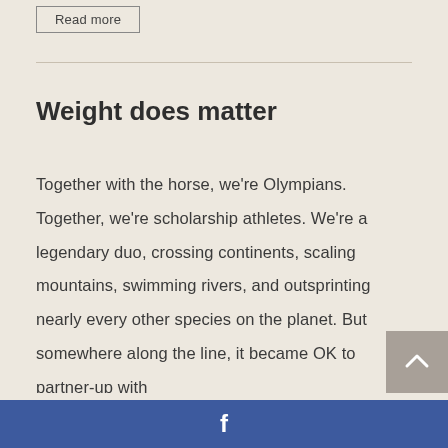Read more
Weight does matter
Together with the horse, we're Olympians. Together, we're scholarship athletes. We're a legendary duo, crossing continents, scaling mountains, swimming rivers, and outsprinting nearly every other species on the planet. But somewhere along the line, it became OK to partner-up with
f